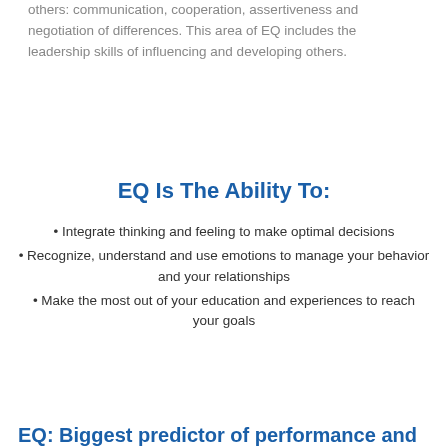others: communication, cooperation, assertiveness and negotiation of differences. This area of EQ includes the leadership skills of influencing and developing others.
EQ Is The Ability To:
Integrate thinking and feeling to make optimal decisions
Recognize, understand and use emotions to manage your behavior and your relationships
Make the most out of your education and experiences to reach your goals
EQ: Biggest predictor of performance and